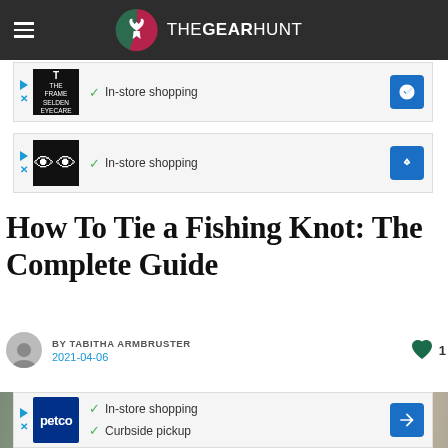THEGEARHUNT
[Figure (screenshot): Ad block 1 - In-store shopping with T/THE logo]
[Figure (screenshot): Ad block 2 - In-store shopping with glasses logo]
How To Tie a Fishing Knot: The Complete Guide
BY TABITHA ARMBRUSTER
2021-04-06
[Figure (photo): Fishing knot article hero image showing rope/fishing line]
[Figure (screenshot): Ad block 3 - Petco - In-store shopping, Curbside pickup]